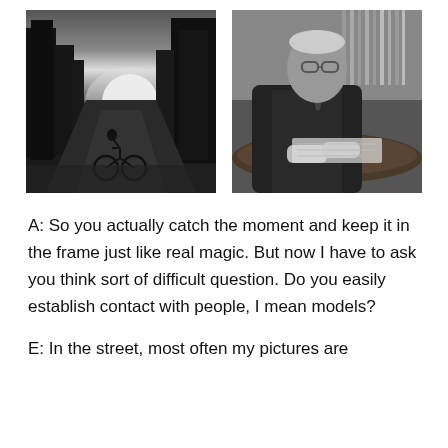[Figure (photo): Black and white street photography: a cyclist riding down an urban street with dramatic backlight from the setting sun, tall buildings on either side]
[Figure (photo): Black and white close-up portrait of an elderly man in glasses and suit, seated at a round table, looking down at papers]
A: So you actually catch the moment and keep it in the frame just like real magic. But now I have to ask you think sort of difficult question. Do you easily establish contact with people, I mean models?
E: In the street, most often my pictures are